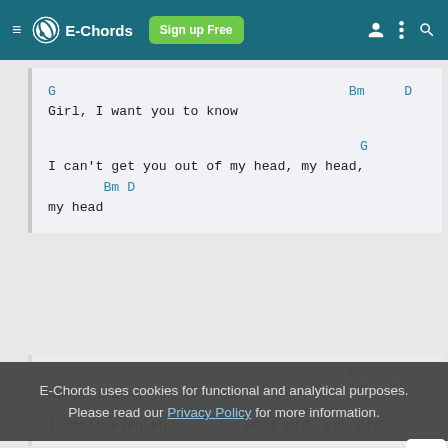E-Chords | Sign up Free
G                                    Bm      D
Girl, I want you to know

                                          G
I can't get you out of my head, my head,
         Bm D
my head
G                                    Bm      D
Girl, I want you to know
I don't even know what did you did
E-Chords uses cookies for functional and analytical purposes. Please read our Privacy Policy for more information.